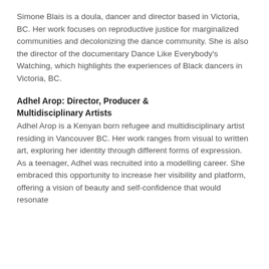Simone Blais is a doula, dancer and director based in Victoria, BC. Her work focuses on reproductive justice for marginalized communities and decolonizing the dance community. She is also the director of the documentary Dance Like Everybody's Watching, which highlights the experiences of Black dancers in Victoria, BC.
Adhel Arop: Director, Producer & Multidisciplinary Artists
Adhel Arop is a Kenyan born refugee and multidisciplinary artist residing in Vancouver BC. Her work ranges from visual to written art, exploring her identity through different forms of expression. As a teenager, Adhel was recruited into a modelling career. She embraced this opportunity to increase her visibility and platform, offering a vision of beauty and self-confidence that would resonate